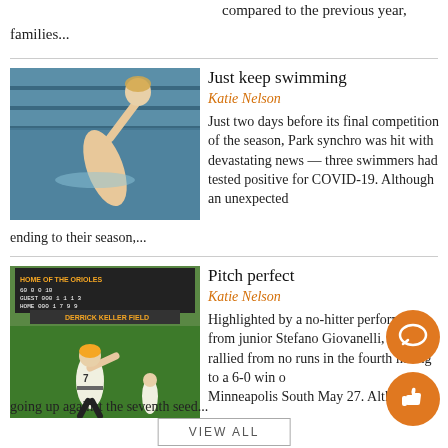compared to the previous year,
families...
Just keep swimming
Katie Nelson
[Figure (photo): Synchronized swimmer performing in a pool, arm raised above water]
Just two days before its final competition of the season, Park synchro was hit with devastating news — three swimmers had tested positive for COVID-19. Although an unexpected ending to their season,...
Pitch perfect
Katie Nelson
[Figure (photo): Baseball pitcher winding up on the mound at Derrick Keller Field with scoreboard in background]
Highlighted by a no-hitter performance from junior Stefano Giovanelli, Park rallied from no runs in the fourth inning to a 6-0 win over Minneapolis South May 27. Alth going up against the seventh seed...